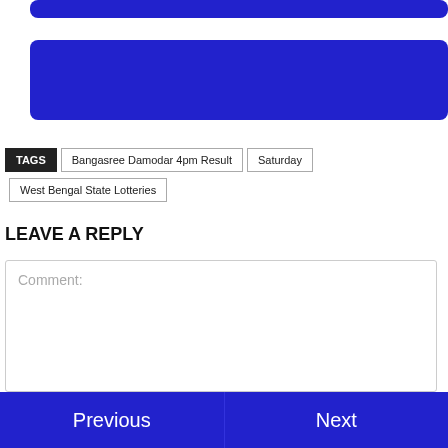[Figure (other): Blue rounded rectangle bar at top]
[Figure (other): Blue rounded rectangle bar in middle]
TAGS  Bangasree Damodar 4pm Result  Saturday  West Bengal State Lotteries
LEAVE A REPLY
Comment:
Previous  Next